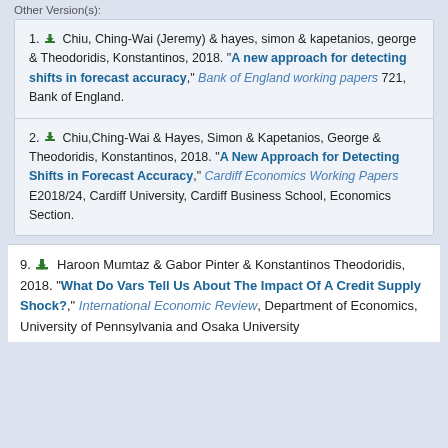1. Chiu, Ching-Wai (Jeremy) & hayes, simon & kapetanios, george & Theodoridis, Konstantinos, 2018. "A new approach for detecting shifts in forecast accuracy," Bank of England working papers 721, Bank of England.
2. Chiu,Ching-Wai & Hayes, Simon & Kapetanios, George & Theodoridis, Konstantinos, 2018. "A New Approach for Detecting Shifts in Forecast Accuracy," Cardiff Economics Working Papers E2018/24, Cardiff University, Cardiff Business School, Economics Section.
9. Haroon Mumtaz & Gabor Pinter & Konstantinos Theodoridis, 2018. "What Do Vars Tell Us About The Impact Of A Credit Supply Shock?," International Economic Review, Department of Economics, University of Pennsylvania and Osaka University